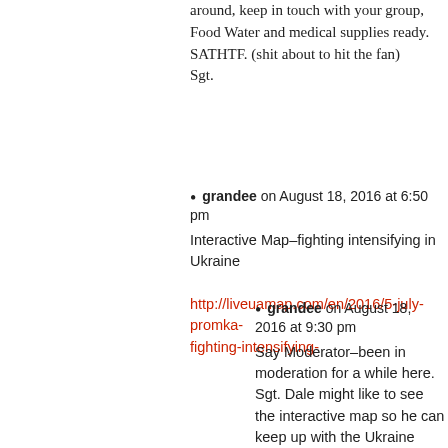around, keep in touch with your group, Food Water and medical supplies ready. SATHTF. (shit about to hit the fan)
Sgt.
grandee on August 18, 2016 at 6:50 pm
Interactive Map–fighting intensifying in Ukraine
http://liveuamap.com/en/2016/5-july-promka-fighting-intensifying-
grandee on August 18, 2016 at 9:30 pm
Say Moderator–been in moderation for a while here. Sgt. Dale might like to see the interactive map so he can keep up with the Ukraine fighting.
thanks!